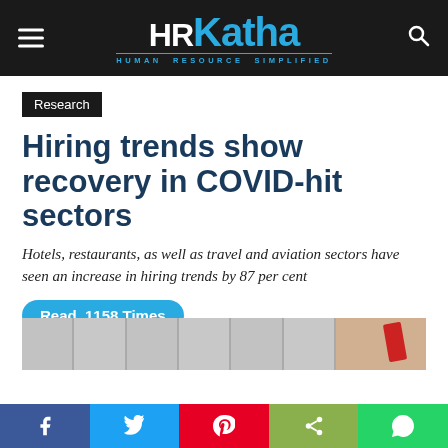HRKatha — HUMAN RESOURCE SIMPLIFIED
Research
Hiring trends show recovery in COVID-hit sectors
Hotels, restaurants, as well as travel and aviation sectors have seen an increase in hiring trends by 87 per cent
Read 1158 Times
By HRK News Bureau - August 5, 2021  0
[Figure (photo): Article header image showing columns/strips with a hand holding a red object]
Social share buttons: Facebook, Twitter, Pinterest, Share, WhatsApp